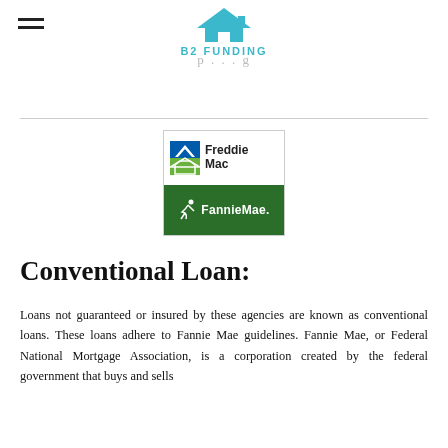B2 FUNDING
[Figure (logo): Combined Freddie Mac and Fannie Mae logos in a bordered box. Top half shows Freddie Mac logo (blue triangle and green house icon) with name, bottom half shows dark green Fannie Mae logo with white text and icon.]
Conventional Loan:
Loans not guaranteed or insured by these agencies are known as conventional loans. These loans adhere to Fannie Mae guidelines. Fannie Mae, or Federal National Mortgage Association, is a corporation created by the federal government that buys and sells